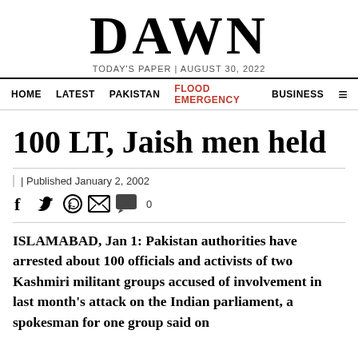DAWN
TODAY'S PAPER | AUGUST 30, 2022
HOME   LATEST   PAKISTAN   FLOOD EMERGENCY   BUSINESS
100 LT, Jaish men held
Published January 2, 2002
social share icons, comment count: 0
ISLAMABAD, Jan 1: Pakistan authorities have arrested about 100 officials and activists of two Kashmiri militant groups accused of involvement in last month's attack on the Indian parliament, a spokesman for one group said on